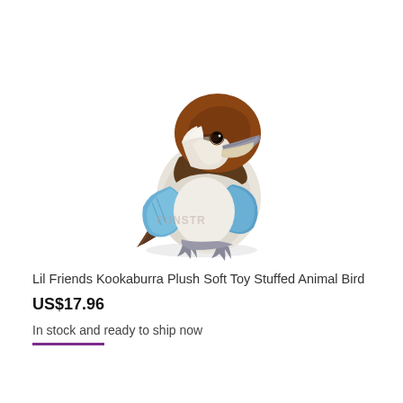[Figure (photo): A plush stuffed kookaburra bird toy with brown head, white chest, blue wing feathers, and grey feet, sitting on a white background. A faint watermark reads FUNSTR in the lower center.]
Lil Friends Kookaburra Plush Soft Toy Stuffed Animal Bird
US$17.96
In stock and ready to ship now